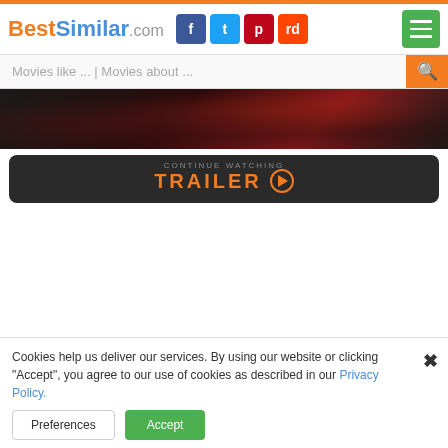BestSimilar.com
Movies like ... | Movies about ...
[Figure (photo): Dark atmospheric movie banner with smoke and red/orange glow in background]
TRAILER ▶
Cookies help us deliver our services. By using our website or clicking "Accept", you agree to our use of cookies as described in our Privacy Policy.
Preferences
Accept